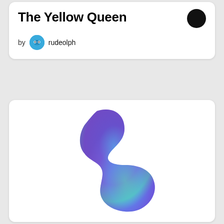The Yellow Queen
by rudeolph
[Figure (illustration): Abstract blob shape with blue-to-purple-to-green gradient, resembling a stylized arrow or organic form pointing right]